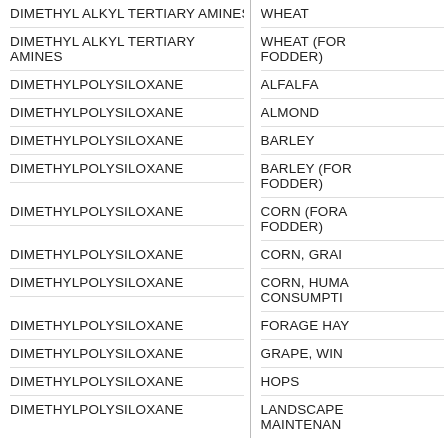| ACTIVE INGREDIENT | CROP |
| --- | --- |
| DIMETHYL ALKYL TERTIARY AMINES | WHEAT |
| DIMETHYL ALKYL TERTIARY AMINES | WHEAT (FOR FODDER) |
| DIMETHYLPOLYSILOXANE | ALFALFA |
| DIMETHYLPOLYSILOXANE | ALMOND |
| DIMETHYLPOLYSILOXANE | BARLEY |
| DIMETHYLPOLYSILOXANE | BARLEY (FOR FODDER) |
| DIMETHYLPOLYSILOXANE | CORN (FORAGE FODDER) |
| DIMETHYLPOLYSILOXANE | CORN, GRAIN |
| DIMETHYLPOLYSILOXANE | CORN, HUMAN CONSUMPTION |
| DIMETHYLPOLYSILOXANE | FORAGE HAY |
| DIMETHYLPOLYSILOXANE | GRAPE, WINE |
| DIMETHYLPOLYSILOXANE | HOPS |
| DIMETHYLPOLYSILOXANE | LANDSCAPE MAINTENANCE |